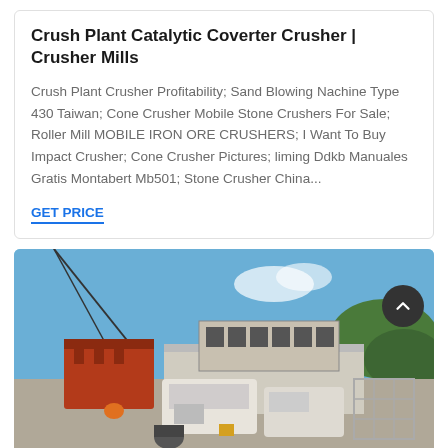Crush Plant Catalytic Coverter Crusher | Crusher Mills
Crush Plant Crusher Profitability; Sand Blowing Nachine Type 430 Taiwan; Cone Crusher Mobile Stone Crushers For Sale; Roller Mill MOBILE IRON ORE CRUSHERS; I Want To Buy Impact Crusher; Cone Crusher Pictures; liming Ddkb Manuales Gratis Montabert Mb501; Stone Crusher China...
GET PRICE
[Figure (photo): Outdoor photo of industrial crusher machinery being lifted by crane at a facility with Chinese signage on building, blue sky background, multiple crusher units visible on ground]